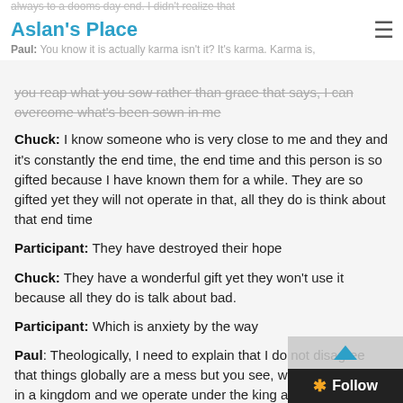Aslan's Place
always to a dooms day end. I didn't realize that
Paul: You know it is actually karma isn't it? It's karma. Karma is, you reap what you sow rather than grace that says, I can overcome what's been sown in me
Chuck: I know someone who is very close to me and they and it's constantly the end time, the end time and this person is so gifted because I have known them for a while. They are so gifted yet they will not operate in that, all they do is think about that end time
Participant: They have destroyed their hope
Chuck: They have a wonderful gift yet they won't use it because all they do is talk about bad.
Participant: Which is anxiety by the way
Paul: Theologically, I need to explain that I do not disagree that things globally are a mess but you see, we are operating in a kingdom and we operate under the king and so we are doing what the king says to do. And we are at war and I am not a dominion theology person and the dominion theology which is b…